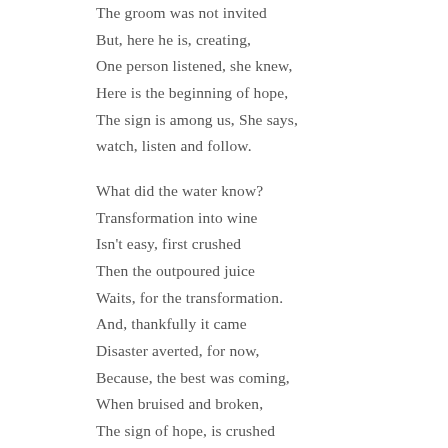The groom was not invited
But, here he is, creating,
One person listened, she knew,
Here is the beginning of hope,
The sign is among us, She says,
watch, listen and follow.

What did the water know?
Transformation into wine
Isn't easy, first crushed
Then the outpoured juice
Waits, for the transformation.
And, thankfully it came
Disaster averted, for now,
Because, the best was coming,
When bruised and broken,
The sign of hope, is crushed
Disaster crowded in loudly,